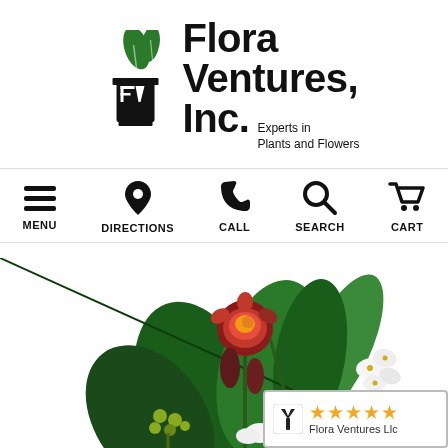[Figure (logo): Flora Ventures, Inc. logo with green leaf/plant icon and text 'Flora Ventures, Inc. Experts in Plants and Flowers']
[Figure (infographic): Navigation bar with icons and labels: MENU (hamburger), DIRECTIONS (pin), CALL (phone), SEARCH (magnifier), CART (shopping cart)]
[Figure (photo): Floral arrangement featuring a red/orange rose, green tropical foliage, white orchids, and yellow-green button flowers on white background]
[Figure (other): Yelp-style rating badge showing 5 stars and text 'Flora Ventures Llc']